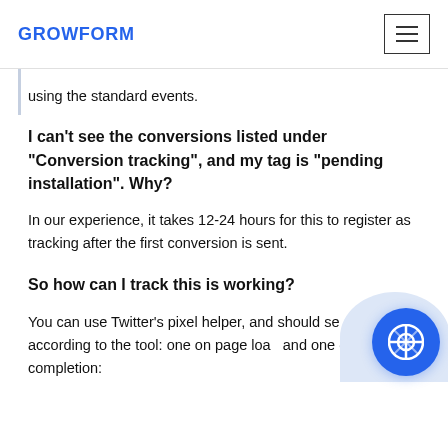GROWFORM
using the standard events.
I can’t see the conversions listed under “Conversion tracking”, and my tag is “pending installation”. Why?
In our experience, it takes 12-24 hours for this to register as tracking after the first conversion is sent.
So how can I track this is working?
You can use Twitter’s pixel helper, and should see pixels fire according to the tool: one on page load and one on form completion: